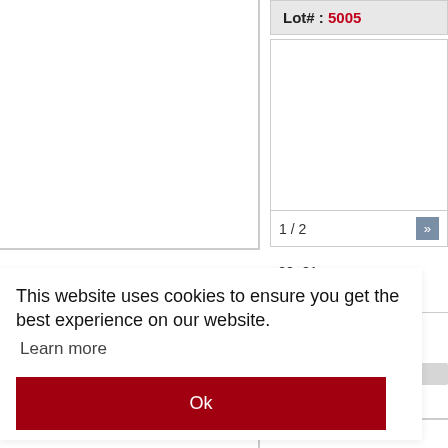Lot# : 5005
1 / 2
+20+21
picture
This website uses cookies to ensure you get the best experience on our website.
Learn more
Ok